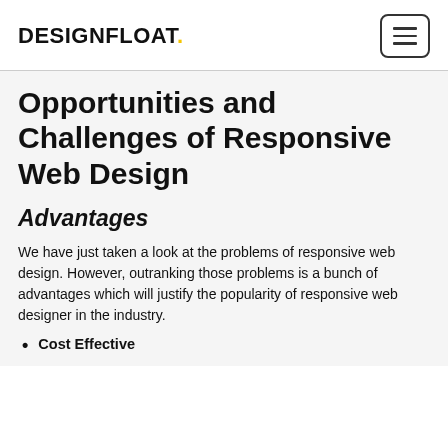DESIGNFLOAT.
Opportunities and Challenges of Responsive Web Design
Advantages
We have just taken a look at the problems of responsive web design. However, outranking those problems is a bunch of advantages which will justify the popularity of responsive web designer in the industry.
Cost Effective